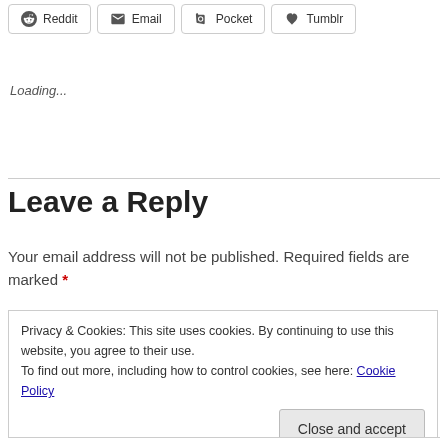[Figure (screenshot): Social share buttons: Reddit, Email, Pocket, Tumblr]
Loading...
Leave a Reply
Your email address will not be published. Required fields are marked *
Privacy & Cookies: This site uses cookies. By continuing to use this website, you agree to their use.
To find out more, including how to control cookies, see here: Cookie Policy
Close and accept